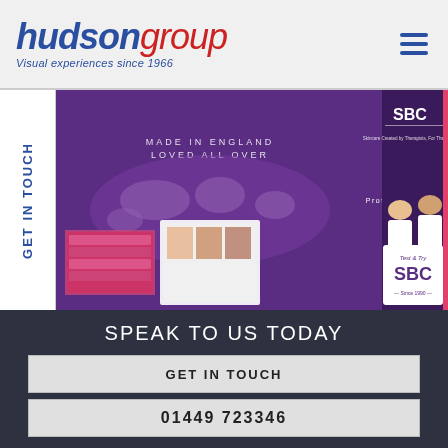[Figure (logo): Hudson Group logo with italic 'hudson' in blue and 'group' in red, with tagline 'Visual experiences since 1966' in blue italic]
[Figure (photo): Exhibition stand photo showing SBC Skincare brand booth with purple walls, text 'Made in England Loved All Over', product displays, staff in white clothing, and a 'Test & Try SBC' counter. Banner reads 'Professional Skincare Experts Since 1990'.]
GET IN TOUCH
SPEAK TO US TODAY
GET IN TOUCH
01449 723346